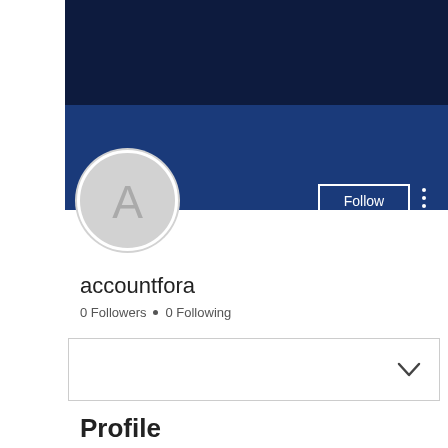[Figure (screenshot): Dark navy blue banner header background (two-tone: very dark top, medium blue bottom)]
[Figure (illustration): Circular avatar with light grey background and letter A in grey]
Follow
accountfora
0 Followers • 0 Following
[Figure (other): Dropdown/expandable box with chevron icon]
Profile
Join date: Jul 18, 2019